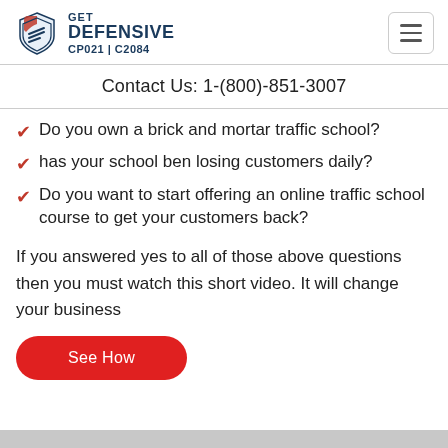GET DEFENSIVE CP021 | C2084
Contact Us: 1-(800)-851-3007
Do you own a brick and mortar traffic school?
has your school ben losing customers daily?
Do you want to start offering an online traffic school course to get your customers back?
If you answered yes to all of those above questions then you must watch this short video. It will change your business
See How